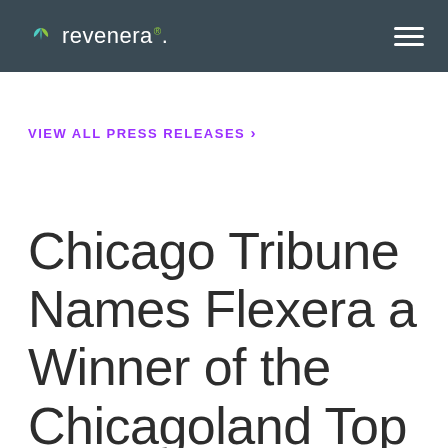revenera.
VIEW ALL PRESS RELEASES >
Chicago Tribune Names Flexera a Winner of the Chicagoland Top